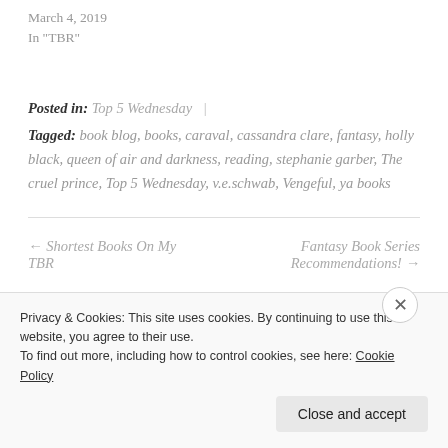March 4, 2019
In "TBR"
Posted in: Top 5 Wednesday |
Tagged: book blog, books, caraval, cassandra clare, fantasy, holly black, queen of air and darkness, reading, stephanie garber, The cruel prince, Top 5 Wednesday, v.e.schwab, Vengeful, ya books
← Shortest Books On My TBR
Fantasy Book Series Recommendations! →
Privacy & Cookies: This site uses cookies. By continuing to use this website, you agree to their use. To find out more, including how to control cookies, see here: Cookie Policy
Close and accept